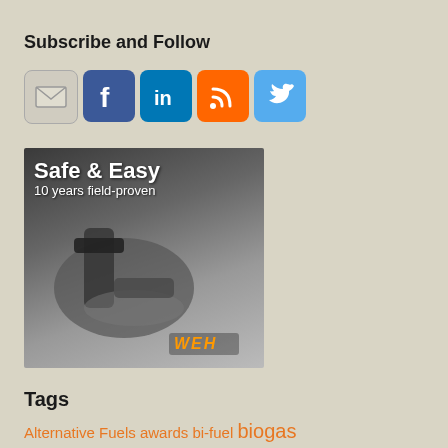Subscribe and Follow
[Figure (infographic): Social media icons: email envelope, Facebook, LinkedIn, RSS feed, Twitter]
[Figure (photo): Advertisement image with text 'Safe & Easy, 10 years field-proven' showing a CNG fueling nozzle, WEH brand logo at bottom]
Tags
Alternative Fuels awards bi-fuel biogas Biomethane Bunkering certification CNG CNG conversion CNG Cylinders Compressed Natural Gas conference